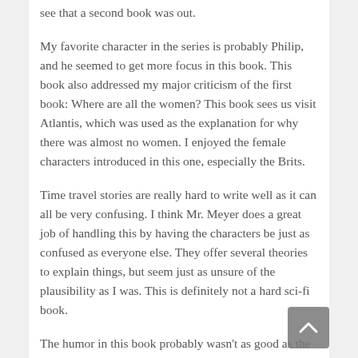see that a second book was out.
My favorite character in the series is probably Philip, and he seemed to get more focus in this book. This book also addressed my major criticism of the first book: Where are all the women? This book sees us visit Atlantis, which was used as the explanation for why there was almost no women. I enjoyed the female characters introduced in this one, especially the Brits.
Time travel stories are really hard to write well as it can all be very confusing. I think Mr. Meyer does a great job of handling this by having the characters be just as confused as everyone else. They offer several theories to explain things, but seem just as unsure of the plausibility as I was. This is definitely not a hard sci-fi book.
The humor in this book probably wasn't as good as the first one, but that didn't make the story any less fun. I did find the parts focused on Jimmy to be less enjoyable